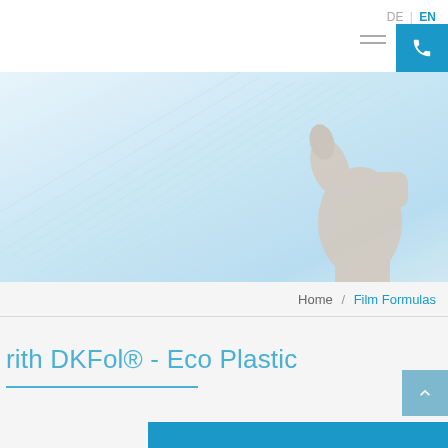DE | EN
[Figure (photo): Light blue hero banner image showing a hand holding plastic film/sheets against a bright background]
Home / Film Formulas
...ith DKFol® - Eco Plastic